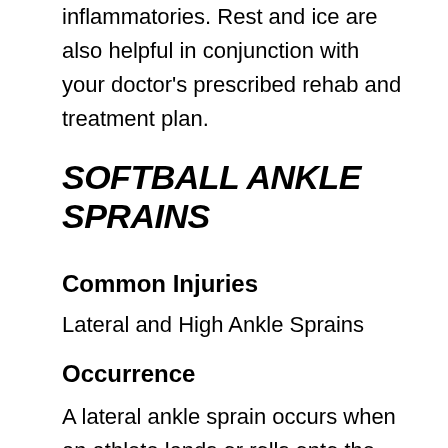inflammatories. Rest and ice are also helpful in conjunction with your doctor's prescribed rehab and treatment plan.
SOFTBALL ANKLE SPRAINS
Common Injuries
Lateral and High Ankle Sprains
Occurrence
A lateral ankle sprain occurs when an athlete lands or rolls onto the